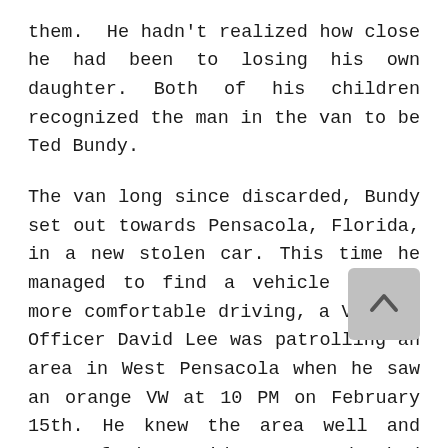mug shots, Bundy's picture being among them. He hadn't realized how close he had been to losing his own daughter. Both of his children recognized the man in the van to be Ted Bundy.

The van long since discarded, Bundy set out towards Pensacola, Florida, in a new stolen car. This time he managed to find a vehicle he was more comfortable driving, a VW bug. Officer David Lee was patrolling an area in West Pensacola when he saw an orange VW at 10 PM on February 15th. He knew the area well and most of the residents, yet he had never before seen the car. Officer Lee decided to run a check on the license plates and soon found out that they were stolen. Immediately, he turned on his lights and began to follow the VW...